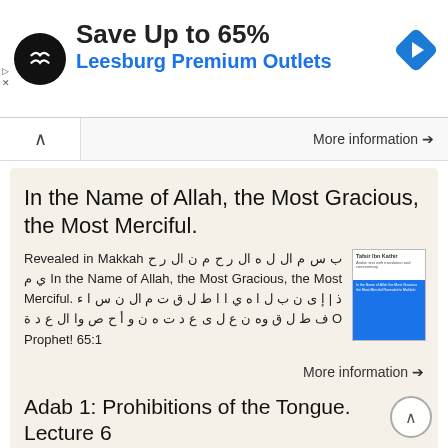[Figure (screenshot): Advertisement banner: black circular logo with double-arrow, text 'Save Up to 65%' in bold and 'Leesburg Premium Outlets' in blue, with a blue navigation diamond icon on the right.]
More information →
In the Name of Allah, the Most Gracious, the Most Merciful.
Revealed in Makkah ب س م ال ل ه ال ر ح م ن ال ر ح ي م In the Name of Allah, the Most Gracious, the Most Merciful. ذ | إ ى ن ب ل ا ه ي ا ا ط ل ق ت م ال ن س ا ء ف ط ل ق وه ن ع ل ى ع د ت ه ن و أ ح ص وا ال ع د ة O Prophet! 65:1
More information →
Adab 1: Prohibitions of the Tongue. Lecture 6